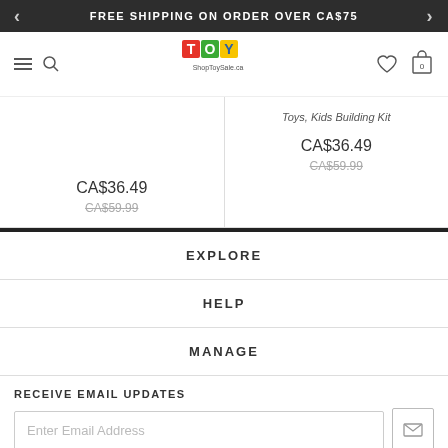FREE SHIPPING ON ORDER OVER CA$75
[Figure (logo): ShopToySale.ca logo with colorful TOY letters in red, green, blue, yellow squares]
Toys, Kids Building Kit
CA$36.49
CA$59.99
CA$36.49
CA$59.99
EXPLORE
HELP
MANAGE
RECEIVE EMAIL UPDATES
Enter Email Address
©2022 Shoptoysale.ca. All Rights Reserved.